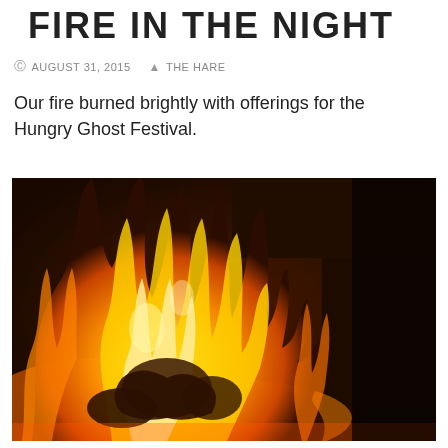FIRE IN THE NIGHT
AUGUST 31, 2015   THE HARE
Our fire burned brightly with offerings for the Hungry Ghost Festival.
[Figure (photo): Close-up photograph of a bright orange and yellow fire burning intensely, with dark pieces of burning material visible amid the flames.]